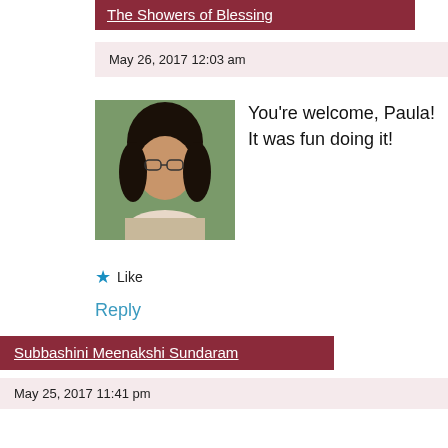The Showers of Blessing
May 26, 2017 12:03 am
[Figure (photo): Profile photo of a woman with dark hair and glasses, outdoors.]
You're welcome, Paula! It was fun doing it!
Like
Reply
Subbashini Meenakshi Sundaram
May 25, 2017 11:41 pm
[Figure (photo): Profile photo of a woman in black and white.]
Lovely birds 😍
Like